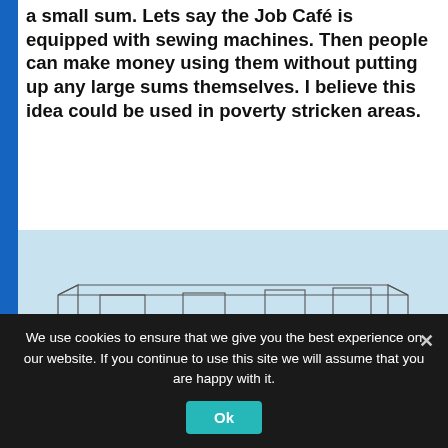a small sum. Lets say the Job Café is equipped with sewing machines. Then people can make money using them without putting up any large sums themselves. I believe this idea could be used in poverty stricken areas.
[Figure (illustration): Line drawing illustration of a long narrow room (perspective view) with a workbench/counter running the length of the room, several monitors or screens mounted on the wall above, and sewing machines or equipment placed on the counter.]
We use cookies to ensure that we give you the best experience on our website. If you continue to use this site we will assume that you are happy with it.